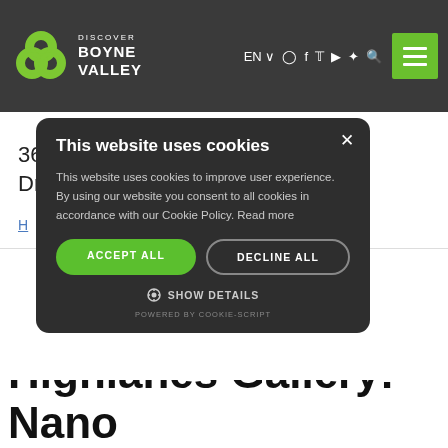[Figure (screenshot): Discover Boyne Valley navigation bar with logo (green trefoil knot), brand name, social media icons (EN, Instagram, Facebook, Twitter, YouTube, TikTok, Search), and green hamburger menu button]
Art
36 St Laurence St, Lagavooren, Drogheda, Co. Louth, A92 F7PH
H...
This website uses cookies
This website uses cookies to improve user experience. By using our website you consent to all cookies in accordance with our Cookie Policy. Read more
ACCEPT ALL
DECLINE ALL
⚙ SHOW DETAILS
POWERED BY COOKIE-SCRIPT
Highlanes Gallery: Nano